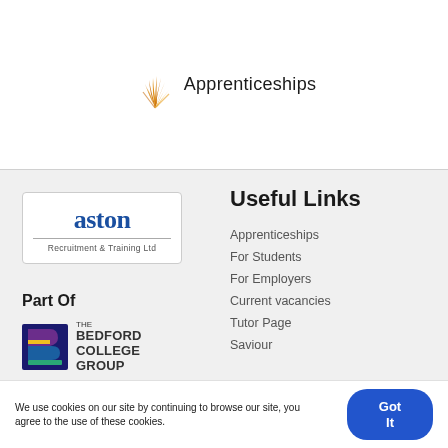[Figure (logo): Apprenticeships logo with orange flame/feather icon and text 'Apprenticeships']
[Figure (logo): Aston Recruitment & Training Ltd logo in blue]
Part Of
[Figure (logo): The Bedford College Group logo with colourful B icon]
Useful Links
Apprenticeships
For Students
For Employers
Current vacancies
Tutor Page
Saviour
We use cookies on our site by continuing to browse our site, you agree to the use of these cookies.